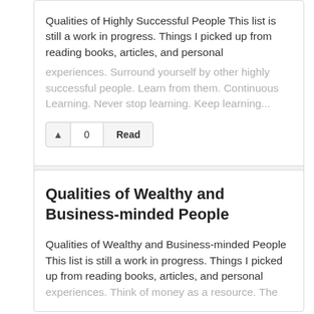Qualities of Highly Successful People This list is still a work in progress. Things I picked up from reading books, articles, and personal experiences. Surround yourself by other highly successful people. Learn from them. Continuous Learning. Never stop learning. Keep learning...
0  Read
echiang written 4 years ago
Qualities of Wealthy and Business-minded People
Qualities of Wealthy and Business-minded People This list is still a work in progress. Things I picked up from reading books, articles, and personal experiences. Think of money as a resource. The...